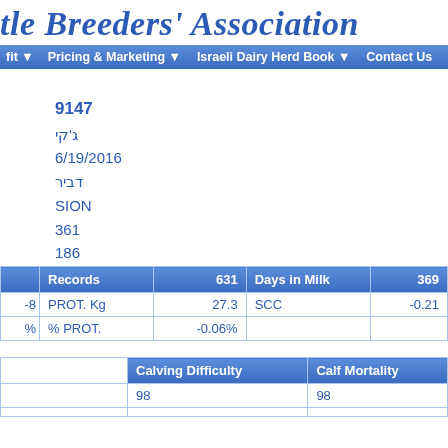tle Breeders' Association
fit  Pricing & Marketing  Israeli Dairy Herd Book  Contact Us
9147
ג'קי
6/19/2016
דביר
SION
361
186
|  | Records | 631 | Days in Milk | 369 |
| --- | --- | --- | --- | --- |
| -8 | PROT. Kg | 27.3 | SCC | -0.21 |
| % | % PROT. | -0.06% |  |  |
|  | Calving Difficulty | Calf Mortality |
| --- | --- | --- |
|  | 98 | 98 |
|  |  |  |